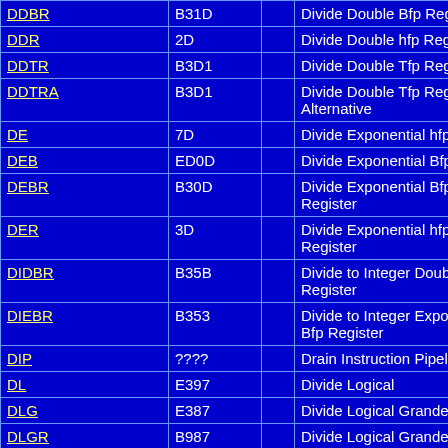| Mnemonic | Opcode |  | Description |
| --- | --- | --- | --- |
| DDBR | B31D |  | Divide Double Bfp Register |
| DDR | 2D |  | Divide Double hfp Register |
| DDTR | B3D1 |  | Divide Double Tfp Register |
| DDTRA | B3D1 |  | Divide Double Tfp Register Alternative |
| DE | 7D |  | Divide Exponential hfp |
| DEB | ED0D |  | Divide Exponential Bfp |
| DEBR | B30D |  | Divide Exponential Bfp Register |
| DER | 3D |  | Divide Exponential hfp Register |
| DIDBR | B35B |  | Divide to Integer Double Bfp Register |
| DIEBR | B353 |  | Divide to Integer Exponential Bfp Register |
| DIP | ???? |  | Drain Instruction Pipeline |
| DL | E397 |  | Divide Logical |
| DLG | E387 |  | Divide Logical Grande |
| DLGR | B987 |  | Divide Logical Grande Register |